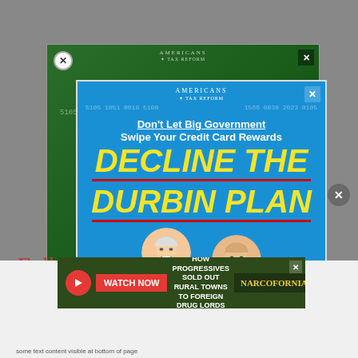[Figure (screenshot): Green background ad from Americans for Tax Reform: 'Don't Let Big Government Swipe Your Credit Card Rewards' with credit card imagery. Partially obscured by blue popup ad.]
[Figure (screenshot): Blue popup ad from Americans for Tax Reform. Text: 'Don't Let Big Government Swipe Your Credit Card Rewards. DECLINE THE DURBIN PLAN.' Features caricature heads of Biden and Durbin with shirts reading 'DON'T BLAME ME' and 'NO REWARDS FOR ALL'. Paid for by Americans for Tax Reform.]
Follow
[Figure (screenshot): Narcofornia video ad: 'HOW PROGRESSIVES SOLD OUT RURAL TOWNS TO FOREIGN DRUG LORDS' with WATCH NOW button and Narcofornia logo/branding on dark green background with plant imagery.]